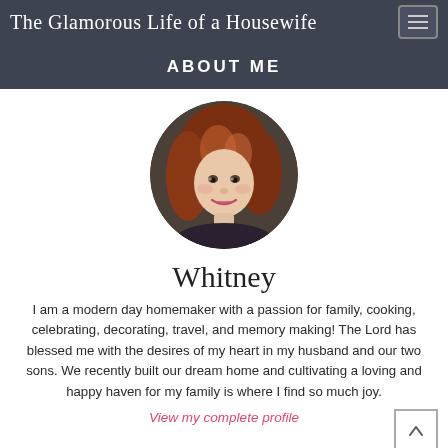The Glamorous Life of a Housewife
ABOUT ME
[Figure (photo): Circular profile photo of Whitney, a woman with auburn/red wavy hair, smiling, wearing a dark top.]
Whitney
I am a modern day homemaker with a passion for family, cooking, celebrating, decorating, travel, and memory making! The Lord has blessed me with the desires of my heart in my husband and our two sons. We recently built our dream home and cultivating a loving and happy haven for my family is where I find so much joy.
View my complete profile